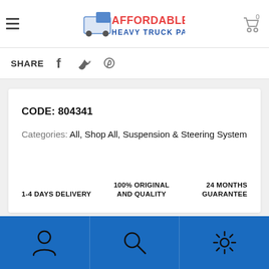Affordable Heavy Truck Parts — header with hamburger menu, logo, and cart (0 items)
SHARE
CODE: 804341
Categories: All, Shop All, Suspension & Steering System
1-4 DAYS DELIVERY
100% ORIGINAL AND QUALITY
24 MONTHS GUARANTEE
Bottom navigation bar with user, search, and settings icons